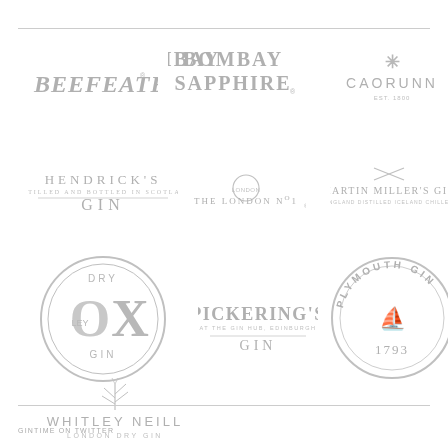[Figure (logo): Beefeater gin logo in grey]
[Figure (logo): Bombay Sapphire gin logo in grey]
[Figure (logo): Caorunn gin logo with asterisk in grey]
[Figure (logo): Hendrick's Gin logo in grey]
[Figure (logo): The London No 1 gin logo in grey]
[Figure (logo): Martin Miller's Gin logo in grey]
[Figure (logo): Dry Oley Ox Gin circular logo in grey]
[Figure (logo): Pickering's Gin logo in grey]
[Figure (logo): Plymouth Gin circular logo in grey]
[Figure (logo): Whitley Neill London Dry Gin logo in grey]
GINTIME ON TWITTER